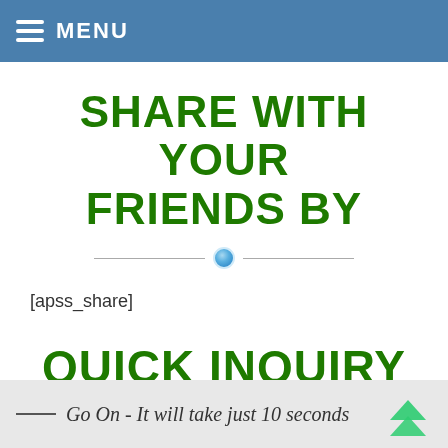MENU
SHARE WITH YOUR FRIENDS BY
[apss_share]
QUICK INQUIRY
Go On - It will take just 10 seconds